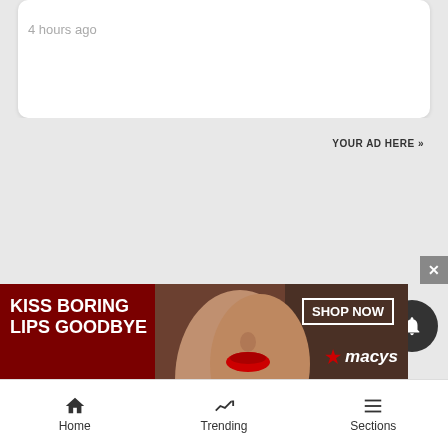4 hours ago
YOUR AD HERE »
[Figure (photo): Macy's advertisement banner showing a woman with red lips. Text reads: KISS BORING LIPS GOODBYE, SHOP NOW, macys star logo]
[Figure (other): Dark notification bell button (circular)]
[Figure (other): Gray X close button]
Home
Trending
Sections